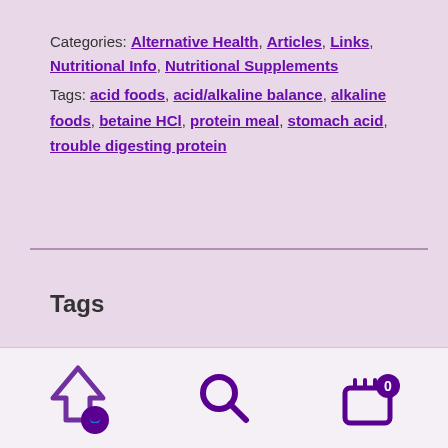Categories: Alternative Health, Articles, Links, Nutritional Info, Nutritional Supplements
Tags: acid foods, acid/alkaline balance, alkaline foods, betaine HCl, protein meal, stomach acid, trouble digesting protein
Tags
allergies  breast cancer  cancer  cholesterol  cold and flu